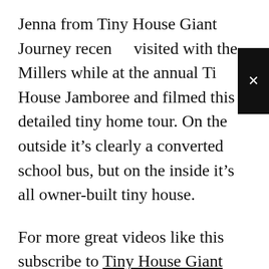Jenna from Tiny House Giant Journey recently visited with the Millers while at the annual Tiny House Jamboree and filmed this detailed tiny home tour. On the outside it's clearly a converted school bus, but on the inside it's all owner-built tiny house.
For more great videos like this subscribe to Tiny House Giant Journey on YouTube. Learn more about the Nomadic Millers.